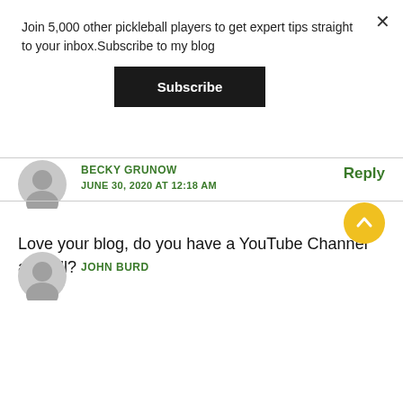Join 5,000 other pickleball players to get expert tips straight to your inbox.Subscribe to my blog
Subscribe
BECKY GRUNOW
JUNE 30, 2020 AT 12:18 AM
Love your blog, do you have a YouTube Channel as well?
Reply
[Figure (illustration): User avatar icon (gray silhouette) for Becky Grunow]
[Figure (illustration): Scroll-to-top button (yellow circle with upward chevron)]
[Figure (illustration): User avatar icon (gray silhouette) for John Burd]
JOHN BURD